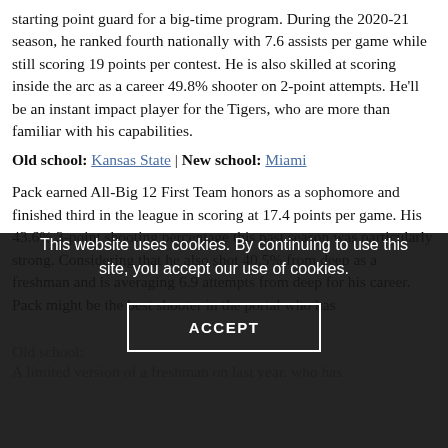starting point guard for a big-time program. During the 2020-21 season, he ranked fourth nationally with 7.6 assists per game while still scoring 19 points per contest. He is also skilled at scoring inside the arc as a career 49.8% shooter on 2-point attempts. He'll be an instant impact player for the Tigers, who are more than familiar with his capabilities.
Old school: Kansas State | New school: Miami
Pack earned All-Big 12 First Team honors as a sophomore and finished third in the league in scoring at 17.4 points per game. His 43.6% 3-point shooting percentage this past season was particularly strong. Considering that he also shot 40.5% from deep as a freshman and is averaging 6.9 attempts from deep for his career. Pack might be the best shooter in the portal who has
Old school:
A limited version of a freshman on last year. who has
This website uses cookies. By continuing to use this site, you accept our use of cookies.